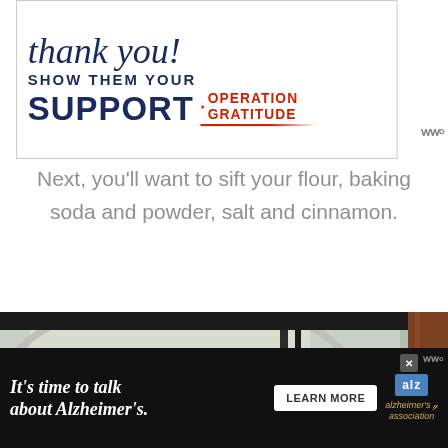[Figure (infographic): Operation Gratitude advertisement banner: 'thank you! SHOW THEM YOUR SUPPORT OPERATION GRATITUDE' with pencil graphic in red, white and blue colors]
Next, you'll want to sift your flour, baking soda and powder, salt and cinnamon.
[Figure (photo): Close-up photo of flour being sifted into a glass mixing bowl, showing white flour powder and a metal sifter]
[Figure (infographic): Alzheimer's Association advertisement: 'It's time to talk about Alzheimer's.' with LEARN MORE button and Alzheimer's association logo]